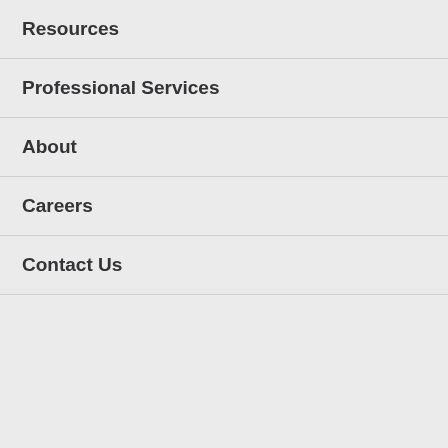Resources
Professional Services
About
Careers
Contact Us